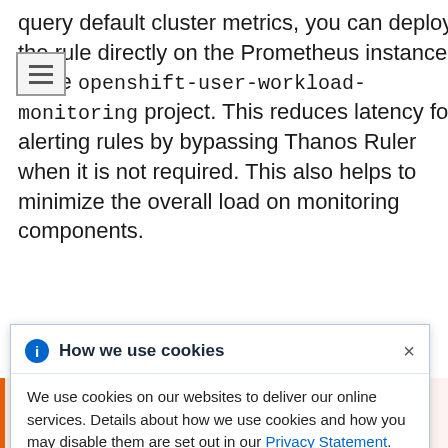query default cluster metrics, you can deploy the rule directly on the Prometheus instance in the openshift-user-workload-monitoring project. This reduces latency for alerting rules by bypassing Thanos Ruler when it is not required. This also helps to minimize the overall load on monitoring components.
[Figure (other): Warning box: WARNING - Default OpenShift Container Platform metrics for user-defined projects provide information about bandwidth, network and CPU usage. Those metrics can be used in an alerting rule if deployed on the Prometheus instance in the openshift-user-workload-monitoring project as outlined in this document. You must have read the documentation for a comprehensive understanding of the monitoring architecture.]
How we use cookies - We use cookies on our websites to deliver our online services. Details about how we use cookies and how you may disable them are set out in our Privacy Statement. By using this website you agree to our use of cookies.
understanding of the monitoring architecture.